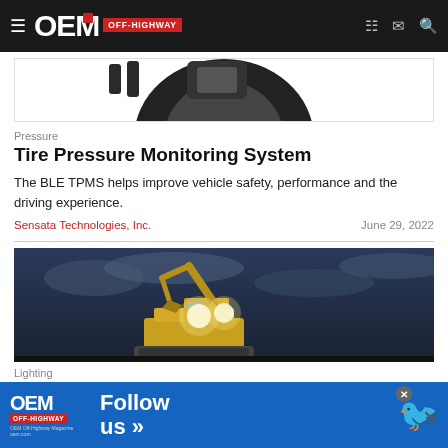OEM OFF-HIGHWAY
[Figure (photo): Partial view of a tire pressure monitoring device against white background]
Pressure
Tire Pressure Monitoring System
The BLE TPMS helps improve vehicle safety, performance and the driving experience.
Sensata Technologies, Inc.    June 29, 2022
[Figure (photo): Excavator with bright lights operating at dusk or night against a dramatic cloudy sky]
Lighting